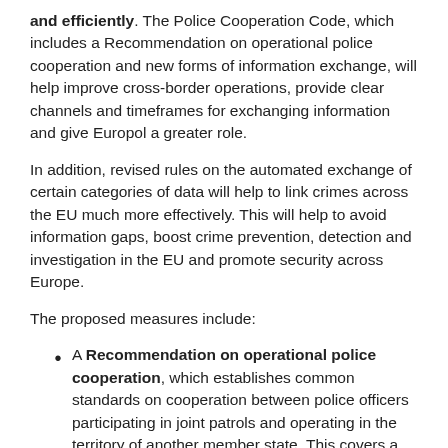and efficiently. The Police Cooperation Code, which includes a Recommendation on operational police cooperation and new forms of information exchange, will help improve cross-border operations, provide clear channels and timeframes for exchanging information and give Europol a greater role.
In addition, revised rules on the automated exchange of certain categories of data will help to link crimes across the EU much more effectively. This will help to avoid information gaps, boost crime prevention, detection and investigation in the EU and promote security across Europe.
The proposed measures include:
A Recommendation on operational police cooperation, which establishes common standards on cooperation between police officers participating in joint patrols and operating in the territory of another member state. This covers a common list of offences for which cross-border hot pursuits are possible and secure